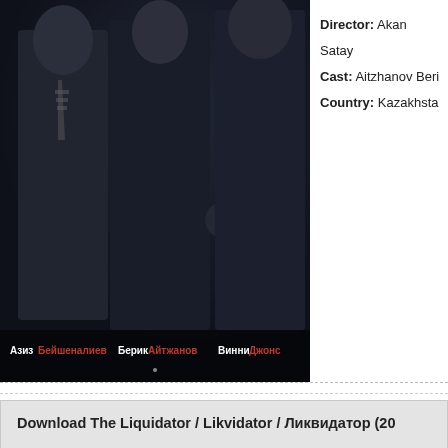[Figure (photo): Movie poster for The Liquidator / Likvidator (2011), showing three men in dark clothing, with Cyrillic text at bottom: Азиз Бейшеналиев, Берик Айтжанов, Винни Джонс]
Director: Akan Satay
Cast: Aitzhanov Beri
Country: Kazakhsta
Download The Liquidator / Likvidator / Ликвидатор (20...
Likvidator.2011.Ut.part1.rar
Likvidator.2011.Ut.part2.rar
Likvidator.2011.Ut.part3.rar
Likvidator.2011.Ut.part4.rar
Did you like this?
Tip movieworld with Crypto...